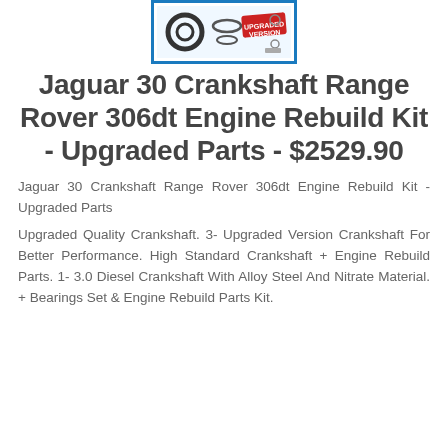[Figure (photo): Product image of Jaguar 30 Crankshaft Range Rover 306dt Engine Rebuild Kit with 'Upgraded Version' stamp badge, shown in a blue-bordered box.]
Jaguar 30 Crankshaft Range Rover 306dt Engine Rebuild Kit - Upgraded Parts - $2529.90
Jaguar 30 Crankshaft Range Rover 306dt Engine Rebuild Kit - Upgraded Parts
Upgraded Quality Crankshaft. 3- Upgraded Version Crankshaft For Better Performance. High Standard Crankshaft + Engine Rebuild Parts. 1- 3.0 Diesel Crankshaft With Alloy Steel And Nitrate Material. + Bearings Set & Engine Rebuild Parts Kit.